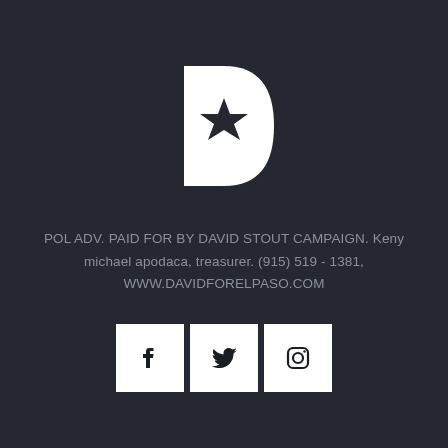[Figure (logo): A white letter D shape with a black star cutout in its center, styled as a campaign logo on a dark background.]
POL ADV. PAID FOR BY DAVID STOUT CAMPAIGN. Keny michael apodaca, treasurer. (915) 519 - 1381, WWW.DAVIDFORELPASO.COM
[Figure (other): Three white square social media icons: Facebook (f), Twitter (bird), and Instagram (camera outline).]